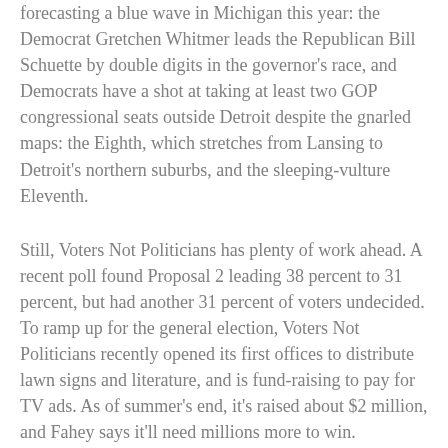forecasting a blue wave in Michigan this year: the Democrat Gretchen Whitmer leads the Republican Bill Schuette by double digits in the governor's race, and Democrats have a shot at taking at least two GOP congressional seats outside Detroit despite the gnarled maps: the Eighth, which stretches from Lansing to Detroit's northern suburbs, and the sleeping-vulture Eleventh.
Still, Voters Not Politicians has plenty of work ahead. A recent poll found Proposal 2 leading 38 percent to 31 percent, but had another 31 percent of voters undecided. To ramp up for the general election, Voters Not Politicians recently opened its first offices to distribute lawn signs and literature, and is fund-raising to pay for TV ads. As of summer's end, it's raised about $2 million, and Fahey says it'll need millions more to win. Canvassing is still a big part of the strategy: Volunteers have knocked on 148,000 doors so far to spread the word.